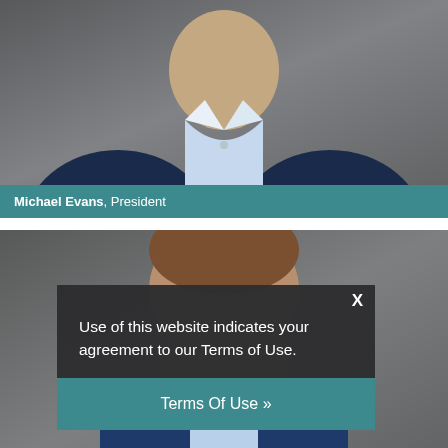[Figure (photo): Professional headshot of a man in a navy blue suit and light blue shirt, cropped to show torso and chin area, photographed against a gray background]
Michael Evans, President
[Figure (photo): Professional headshot of a second man partially visible, photographed against a gray background, partially obscured by a cookie consent overlay]
Use of this website indicates your agreement to our Terms of Use.
Terms Of Use »